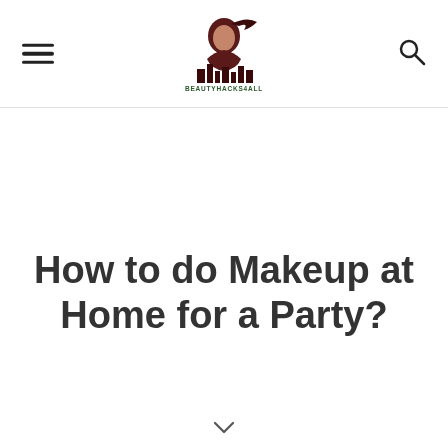BEAUTYHACKS4ALL
How to do Makeup at Home for a Party?